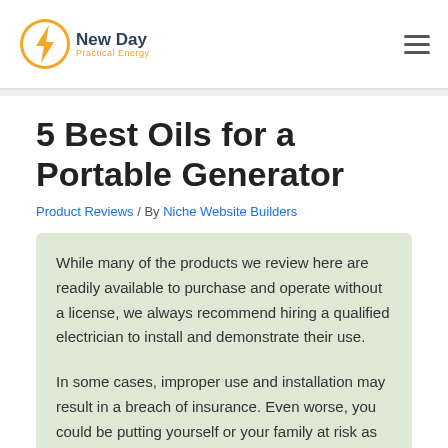New Day Practical Energy
5 Best Oils for a Portable Generator
Product Reviews / By Niche Website Builders
While many of the products we review here are readily available to purchase and operate without a license, we always recommend hiring a qualified electrician to install and demonstrate their use.
In some cases, improper use and installation may result in a breach of insurance. Even worse, you could be putting yourself or your family at risk as an incorrectly installed electrical device could start a fire. So, don't risk it - seek the